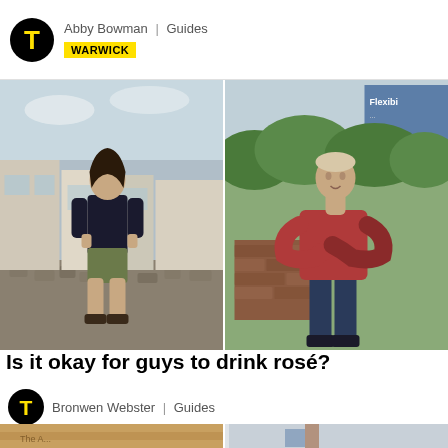Abby Bowman | Guides | WARWICK
[Figure (photo): Two photos side by side: left shows a young man with long dark hair in a black polo shirt and olive shorts standing on a cobblestone pedestrian street with shops; right shows a muscular young man in a red t-shirt with arms crossed standing outdoors near brick wall and green bushes with a sign reading Flexibil...]
Is it okay for guys to drink rosé?
Bronwen Webster | Guides
[Figure (photo): Bottom strip showing two partial images: left is a warm sunset/desert scene with wooden planks or writing, right shows a person near a building]